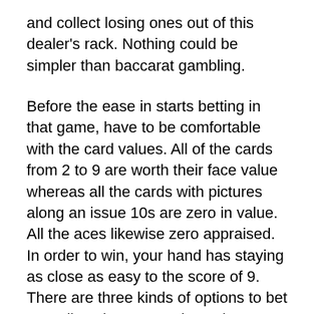and collect losing ones out of this dealer's rack. Nothing could be simpler than baccarat gambling.
Before the ease in starts betting in that game, have to be comfortable with the card values. All of the cards from 2 to 9 are worth their face value whereas all the cards with pictures along an issue 10s are zero in value. All the aces likewise zero appraised. In order to win, your hand has staying as close as easy to the score of 9. There are three kinds of options to bet as well as these are “Tie”, “Player” or “Banker”. It is entirely the player’s substitute for bet on one of the three available options and decide the pegs. They can then put their money down on any ufabet of them three methods.